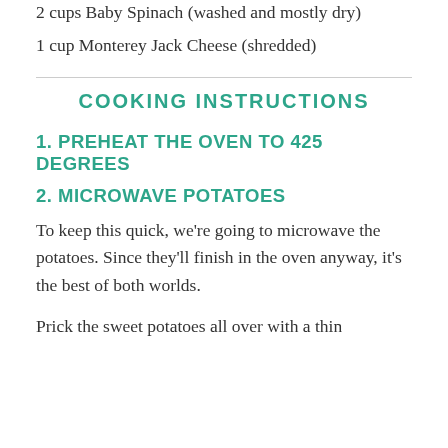2 cups Baby Spinach (washed and mostly dry)
1 cup Monterey Jack Cheese (shredded)
COOKING INSTRUCTIONS
1. PREHEAT THE OVEN TO 425 DEGREES
2. MICROWAVE POTATOES
To keep this quick, we're going to microwave the potatoes. Since they'll finish in the oven anyway, it's the best of both worlds.
Prick the sweet potatoes all over with a thin